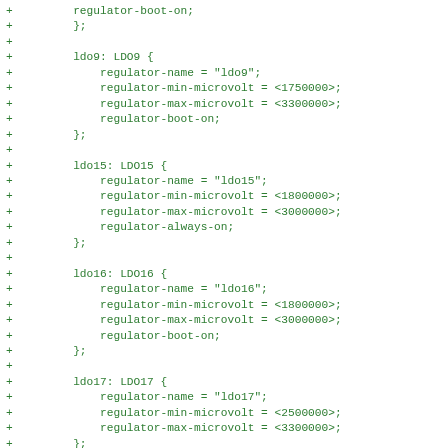+		regulator-boot-on;
+	};
+
+		ldo9: LDO9 {
+			regulator-name = "ldo9";
+			regulator-min-microvolt = <1750000>;
+			regulator-max-microvolt = <3300000>;
+			regulator-boot-on;
+		};
+
+		ldo15: LDO15 {
+			regulator-name = "ldo15";
+			regulator-min-microvolt = <1800000>;
+			regulator-max-microvolt = <3000000>;
+			regulator-always-on;
+		};
+
+		ldo16: LDO16 {
+			regulator-name = "ldo16";
+			regulator-min-microvolt = <1800000>;
+			regulator-max-microvolt = <3000000>;
+			regulator-boot-on;
+		};
+
+		ldo17: LDO17 {
+			regulator-name = "ldo17";
+			regulator-min-microvolt = <2500000>;
+			regulator-max-microvolt = <3300000>;
+		};
+